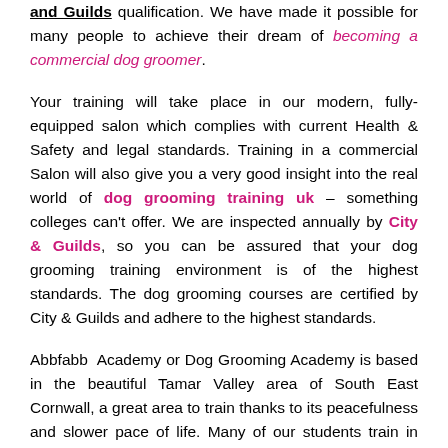and Guilds qualification. We have made it possible for many people to achieve their dream of becoming a commercial dog groomer.
Your training will take place in our modern, fully-equipped salon which complies with current Health & Safety and legal standards. Training in a commercial Salon will also give you a very good insight into the real world of dog grooming training uk – something colleges can't offer. We are inspected annually by City & Guilds, so you can be assured that your dog grooming training environment is of the highest standards. The dog grooming courses are certified by City & Guilds and adhere to the highest standards.
Abbfabb Academy or Dog Grooming Academy is based in the beautiful Tamar Valley area of South East Cornwall, a great area to train thanks to its peacefulness and slower pace of life. Many of our students train in blocks and often combine their studies with a short break here in Cornwall. There is some excellent accommodation available locally which has been consistently enjoyed by our international students and those who have to